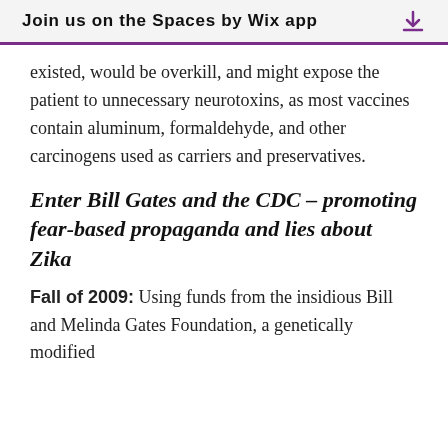Join us on the Spaces by Wix app
existed, would be overkill, and might expose the patient to unnecessary neurotoxins, as most vaccines contain aluminum, formaldehyde, and other carcinogens used as carriers and preservatives.
Enter Bill Gates and the CDC – promoting fear-based propaganda and lies about Zika
Fall of 2009: Using funds from the insidious Bill and Melinda Gates Foundation, a genetically modified